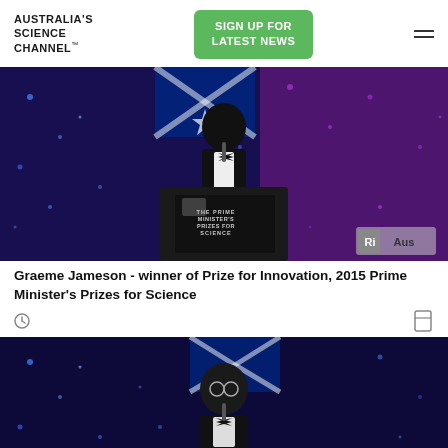AUSTRALIA'S SCIENCE CHANNEL™
[Figure (screenshot): Screenshot of Australia's Science Channel website header with logo, green SIGN UP FOR LATEST NEWS button, and hamburger menu]
[Figure (photo): A man in a tuxedo standing at a podium labeled 'THE PRIME MINISTER'S PRIZES FOR SCIENCE' with an Australian flag in the background and blue bokeh curtain lights. Ri Aus watermark visible bottom right.]
Graeme Jameson - winner of Prize for Innovation, 2015 Prime Minister's Prizes for Science
[Figure (photo): A man in a tuxedo with glasses standing at a podium in front of an Australian flag and blue bokeh curtain lights.]